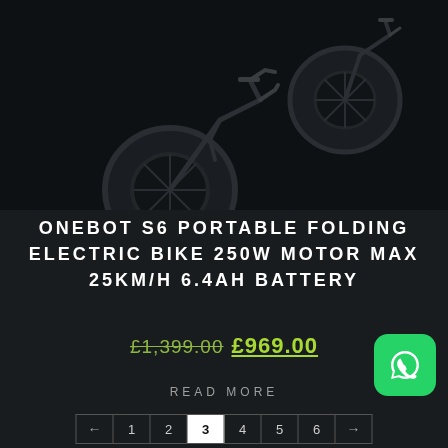[Figure (photo): Two dark-colored folding electric bikes photographed against a very dark background, showing the front wheels and frame from an angle above]
ONEBOT S6 PORTABLE FOLDING ELECTRIC BIKE 250W MOTOR MAX 25KM/H 6.4AH BATTERY
£1,399.00 £969.00
READ MORE
[Figure (logo): WhatsApp logo button — green rounded square with white phone/speech bubble icon]
← 1 2 3 4 5 6 →